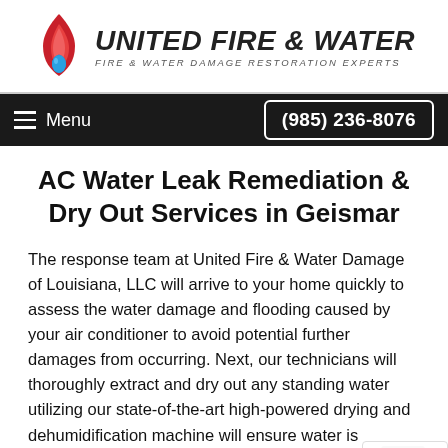[Figure (logo): United Fire & Water logo with flame icon and text 'UNITED FIRE & WATER - FIRE & WATER DAMAGE RESTORATION EXPERTS']
Menu   (985) 236-8076
AC Water Leak Remediation & Dry Out Services in Geismar
The response team at United Fire & Water Damage of Louisiana, LLC will arrive to your home quickly to assess the water damage and flooding caused by your air conditioner to avoid potential further damages from occurring. Next, our technicians will thoroughly extract and dry out any standing water utilizing our state-of-the-art high-powered drying and dehumidification machine will ensure water is removed from the flooring and b walls to avoid the potential growth of mold. All materials